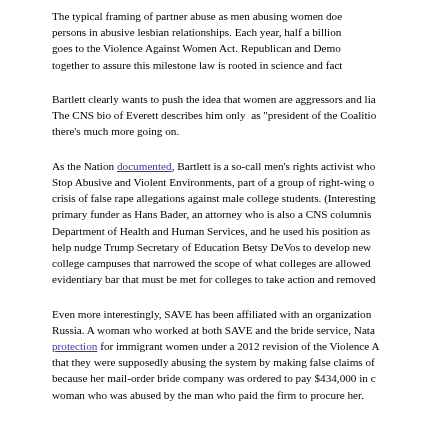The typical framing of partner abuse as men abusing women does not address persons in abusive lesbian relationships. Each year, half a billion goes to the Violence Against Women Act. Republican and Democrats together to assure this milestone law is rooted in science and fact
Bartlett clearly wants to push the idea that women are aggressors and lia The CNS bio of Everett describes him only as "president of the Coalitio there's much more going on.
As the Nation documented, Bartlett is a so-call men's rights activist who Stop Abusive and Violent Environments, part of a group of right-wing o crisis of false rape allegations against male college students. (Interesting primary funder as Hans Bader, an attorney who is also a CNS columnist Department of Health and Human Services, and he used his position as help nudge Trump Secretary of Education Betsy DeVos to develop new college campuses that narrowed the scope of what colleges are allowed evidentiary bar that must be met for colleges to take action and removed
Even more interestingly, SAVE has been affiliated with an organization Russia. A woman who worked at both SAVE and the bride service, Nata protection for immigrant women under a 2012 revision of the Violence A that they were supposedly abusing the system by making false claims of because her mail-order bride company was ordered to pay $434,000 in c woman who was abused by the man who paid the firm to procure her.